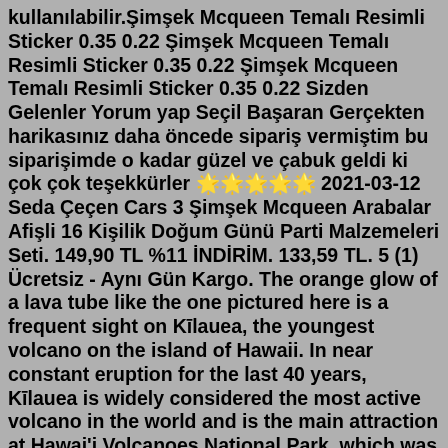kullanılabilir.Şimşek Mcqueen Temalı Resimli Sticker 0.35 0.22 Şimşek Mcqueen Temalı Resimli Sticker 0.35 0.22 Şimşek Mcqueen Temalı Resimli Sticker 0.35 0.22 Sizden Gelenler Yorum yap Seçil Başaran Gerçekten harikasınız daha öncede sipariş vermiştim bu siparişimde o kadar güzel ve çabuk geldi ki çok çok teşekkürler 🌟🌟🌟🌟🌟 2021-03-12 Seda Çeçen Cars 3 Şimşek Mcqueen Arabalar Afişli 16 Kişilik Doğum Günü Parti Malzemeleri Seti. 149,90 TL %11 İNDİRİM. 133,59 TL. 5 (1) Ücretsiz - Aynı Gün Kargo. The orange glow of a lava tube like the one pictured here is a frequent sight on Kīlauea, the youngest volcano on the island of Hawaii. In near constant eruption for the last 40 years, Kīlauea is widely considered the most active volcano in the world and is the main attraction at Hawai'i Volcanoes National Park, which was created on this day in 1916.Cars Şimşek Mcqueen Tow Mater 2li Araba Seti CNL-8896. Ürün Kodu CNL-8896. Stok Durumu 7. Sürtmeli Mekanizmalı. Favorilere Ekle. Ürün Bilgisi. Yorumlar (0). Genellikere ...